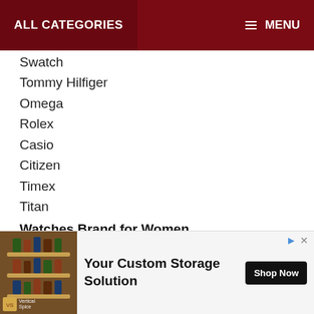ALL CATEGORIES   MENU
Swatch
Tommy Hilfiger
Omega
Rolex
Casio
Citizen
Timex
Titan
Watches Brand for Women
1. Omega   2. Tissot   3. Cartier   4. Tiffany   5. Longines   6. Tag Heuer   7. Titan   8. Michael Kors   9. Rado   10. GC
Fasttrack
ey
[Figure (screenshot): Advertisement for Vertical Spice custom storage solution with image of spice rack and Shop Now button]